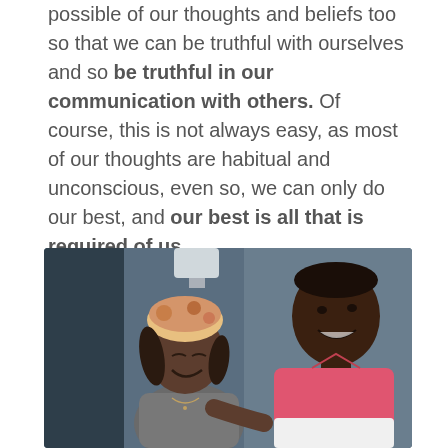possible of our thoughts and beliefs too so that we can be truthful with ourselves and so be truthful in our communication with others. Of course, this is not always easy, as most of our thoughts are habitual and unconscious, even so, we can only do our best, and our best is all that is required of us.
[Figure (photo): A young Black woman with a floral headwrap smiling and looking down, and a tall Black man in a pink polo shirt smiling, seated together in a room with blue walls.]